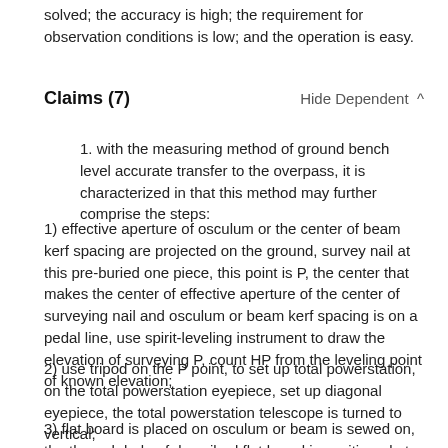solved; the accuracy is high; the requirement for observation conditions is low; and the operation is easy.
Claims (7)
1. with the measuring method of ground bench level accurate transfer to the overpass, it is characterized in that this method may further comprise the steps:
1) effective aperture of osculum or the center of beam kerf spacing are projected on the ground, survey nail at this pre-buried one piece, this point is P, the center that makes the center of effective aperture of the center of surveying nail and osculum or beam kerf spacing is on a pedal line, use spirit-leveling instrument to draw the elevation of surveying P, count HP from the leveling point of known elevation;
2) use tripod on the P point, to set up total powerstation, on the total powerstation eyepiece, set up diagonal eyepiece, the total powerstation telescope is turned to vertical;
3) flat board is placed on osculum or beam is sewed on, the through hole of described flat board is positioned at described